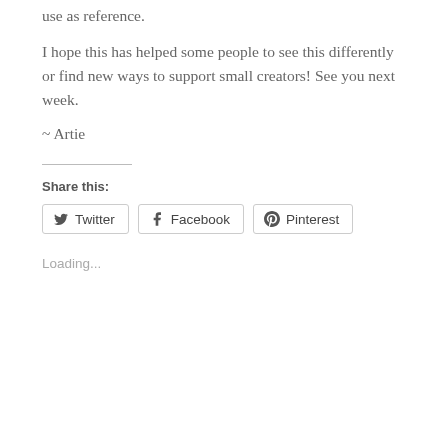use as reference.
I hope this has helped some people to see this differently or find new ways to support small creators! See you next week.
~ Artie
Share this:
Twitter Facebook Pinterest
Loading...